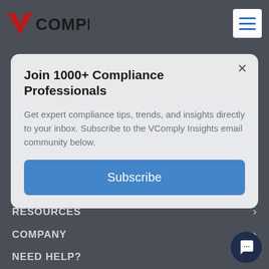VComply
Join 1000+ Compliance Professionals
Get expert compliance tips, trends, and insights directly to your inbox. Subscribe to the VComply Insights email community below.
Subscribe
RESOURCES
COMPANY
NEED HELP?